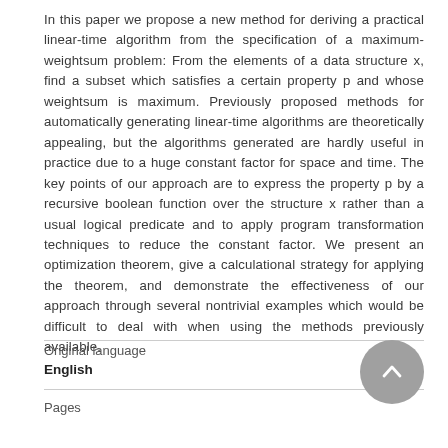In this paper we propose a new method for deriving a practical linear-time algorithm from the specification of a maximum-weightsum problem: From the elements of a data structure x, find a subset which satisfies a certain property p and whose weightsum is maximum. Previously proposed methods for automatically generating linear-time algorithms are theoretically appealing, but the algorithms generated are hardly useful in practice due to a huge constant factor for space and time. The key points of our approach are to express the property p by a recursive boolean function over the structure x rather than a usual logical predicate and to apply program transformation techniques to reduce the constant factor. We present an optimization theorem, give a calculational strategy for applying the theorem, and demonstrate the effectiveness of our approach through several nontrivial examples which would be difficult to deal with when using the methods previously available.
| Original language |  |
| --- | --- |
| English |  |
| Pages |  |